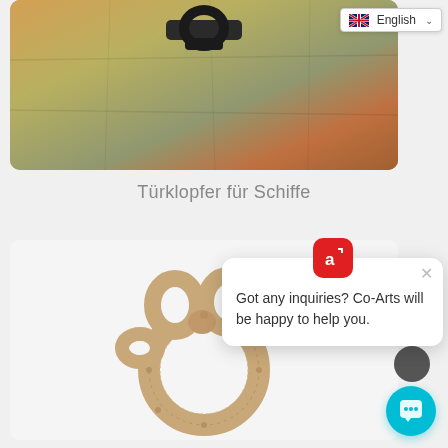[Figure (photo): Close-up photo of a dark cast iron ship door knocker against a textured stone/wood surface with warm golden-brown tones]
[Figure (screenshot): Language selector dropdown showing UK flag and text 'English' with a chevron dropdown arrow]
Türklopfer für Schiffe
[Figure (photo): Product photo of a decorative rope-style door knocker in beige/tan color, circular with ornate knotted top, against a white background]
[Figure (screenshot): Chat widget popup with Co-Arts logo (red icon with letter a), close button X, text 'Got any inquiries? Co-Arts will be happy to help you.' and a teal chat bubble button]